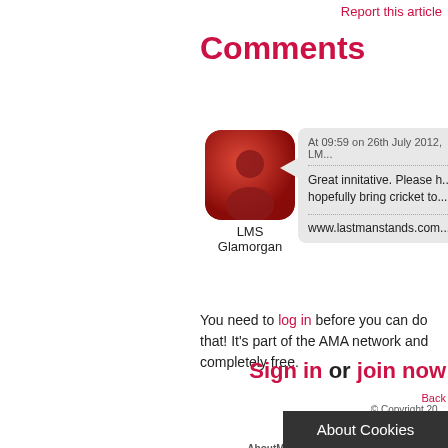Report this article
Comments
[Figure (illustration): Red rounded square avatar icon with a silhouette of a person, labeled 'LMS Glamorgan' below]
At 09:59 on 26th July 2012, LM... Great innitative. Please h... hopefully bring cricket to ... www.lastmanstands.com
You need to log in before you can do that! It's part of the AMA network and completely free.
Sign in or join now
Ba... © Copyright 2...
AboutMyAr...
WF4: WF4 Home | News | Com... AboutMyArea: Home | Site Map | Co... tions
About Cookies